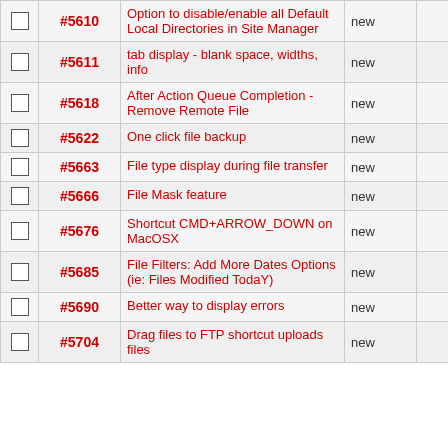|  | ID | Description | Status |  |
| --- | --- | --- | --- | --- |
|  | #5610 | Option to disable/enable all Default Local Directories in Site Manager | new |  |
|  | #5611 | tab display - blank space, widths, info | new |  |
|  | #5618 | After Action Queue Completion - Remove Remote File | new |  |
|  | #5622 | One click file backup | new |  |
|  | #5663 | File type display during file transfer | new |  |
|  | #5666 | File Mask feature | new |  |
|  | #5676 | Shortcut CMD+ARROW_DOWN on MacOSX | new |  |
|  | #5685 | File Filters: Add More Dates Options (ie: Files Modified TodaY) | new |  |
|  | #5690 | Better way to display errors | new |  |
|  | #5704 | Drag files to FTP shortcut uploads files | new |  |